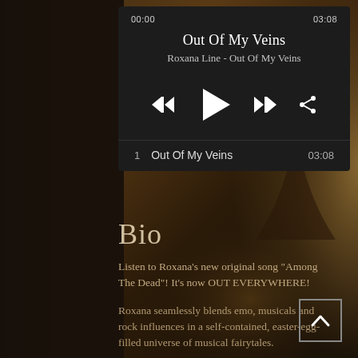[Figure (screenshot): Music player app screenshot showing 'Out Of My Veins' by Roxana Line with playback controls, time display 00:00 to 03:08, track listing, Bio section text, and background of a dark atmospheric stage scene.]
00:00
03:08
Out Of My Veins
Roxana Line - Out Of My Veins
1   Out Of My Veins   03:08
Bio
Listen to Roxana's new original song "Among The Dead"! It's now OUT EVERYWHERE!
Roxana seamlessly blends emo, musicals and rock influences in a self-contained, easter-egg-filled universe of musical fairytales.